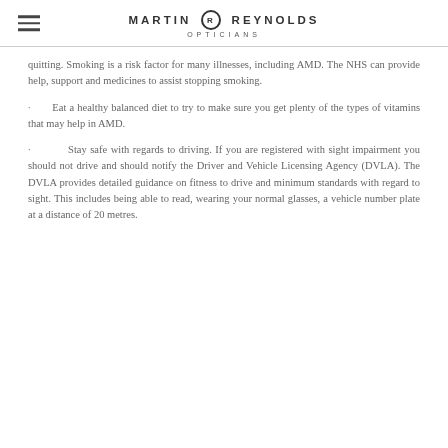MARTIN REYNOLDS OPTICIANS
quitting. Smoking is a risk factor for many illnesses, including AMD. The NHS can provide help, support and medicines to assist stopping smoking.
Eat a healthy balanced diet to try to make sure you get plenty of the types of vitamins that may help in AMD.
Stay safe with regards to driving. If you are registered with sight impairment you should not drive and should notify the Driver and Vehicle Licensing Agency (DVLA). The DVLA provides detailed guidance on fitness to drive and minimum standards with regard to sight. This includes being able to read, wearing your normal glasses, a vehicle number plate at a distance of 20 metres.